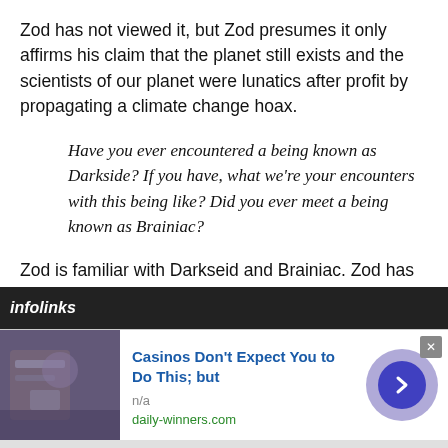Zod has not viewed it, but Zod presumes it only affirms his claim that the planet still exists and the scientists of our planet were lunatics after profit by propagating a climate change hoax.
Have you ever encountered a being known as Darkside? If you have, what we're your encounters with this being like? Did you ever meet a being known as Brainiac?
Zod is familiar with Darkseid and Brainiac. Zod has not encountered them personally. He finds their villainy worthy of approval, but second in every respect to the villainy of Zod. Brainiac's brains would be inferior to my own, and Darkseid's Omega Beams pale in comparison to my lasers.
[Figure (other): Infolinks advertisement banner featuring a photo of a man in a blue shirt, ad title 'Casinos Don't Expect You to Do This; but', source 'daily-winners.com', with a circular blue arrow button and close button.]